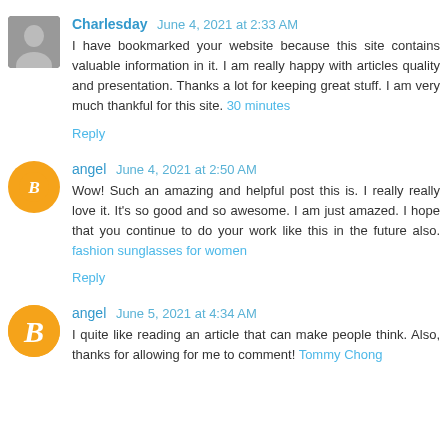Charlesday June 4, 2021 at 2:33 AM
I have bookmarked your website because this site contains valuable information in it. I am really happy with articles quality and presentation. Thanks a lot for keeping great stuff. I am very much thankful for this site. 30 minutes
Reply
angel June 4, 2021 at 2:50 AM
Wow! Such an amazing and helpful post this is. I really really love it. It's so good and so awesome. I am just amazed. I hope that you continue to do your work like this in the future also. fashion sunglasses for women
Reply
angel June 5, 2021 at 4:34 AM
I quite like reading an article that can make people think. Also, thanks for allowing for me to comment! Tommy Chong